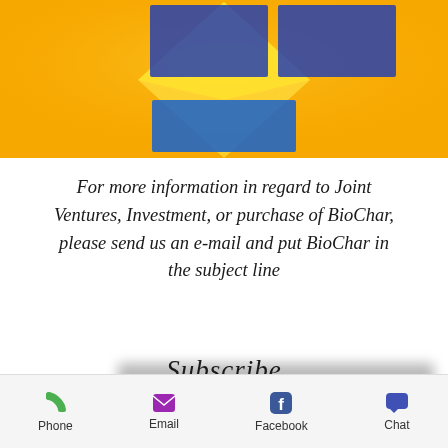[Figure (infographic): Orange/yellow background banner with a yellow star shape in center, two blue rectangular boxes on left and right with text about R&D Center and Blockchain/Carbon Credit Platform, and a center-bottom blue box about Environmental Cleanup Services]
For more information in regard to Joint Ventures, Investment, or purchase of BioChar, please send us an e-mail and put BioChar in the subject line
[Figure (other): Blurred/redacted email address bar]
Subscribe
Enter your email here*
Join
Phone
Email
Facebook
Chat